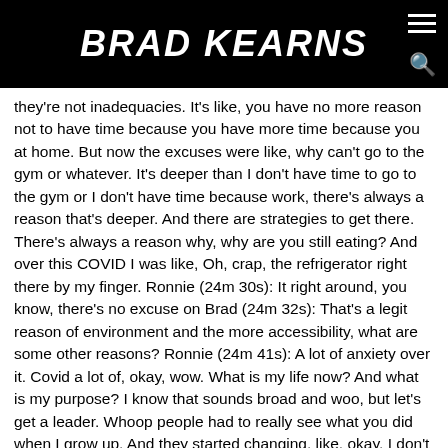BRAD KEARNS
they're not inadequacies. It's like, you have no more reason not to have time because you have more time because you at home. But now the excuses were like, why can't go to the gym or whatever. It's deeper than I don't have time to go to the gym or I don't have time because work, there's always a reason that's deeper. And there are strategies to get there. There's always a reason why, why are you still eating? And over this COVID I was like, Oh, crap, the refrigerator right there by my finger. Ronnie (24m 30s): It right around, you know, there's no excuse on Brad (24m 32s): That's a legit reason of environment and the more accessibility, what are some other reasons? Ronnie (24m 41s): A lot of anxiety over it. Covid a lot of, okay, wow. What is my life now? And what is my purpose? I know that sounds broad and woo, but let's get a leader. Whoop people had to really see what you did when I grow up. And they started changing, like, okay, I don't have to go to the brick and mortar. Okay. I'm not doing this. What are my priorities? And how do I handle being home all the time? How do I handle either